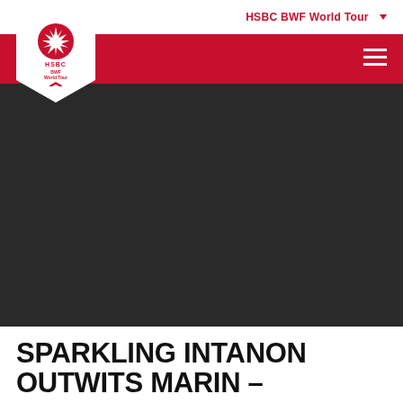HSBC BWF World Tour
[Figure (logo): HSBC BWF World Tour logo — red circular design with HSBC text and World Tour text, white pentagon-shaped background]
[Figure (photo): Dark hero image area (photo content not visible — appears dark/black background)]
SPARKLING INTANON OUTWITS MARIN – MALAYSIA MASTERS: FINALS